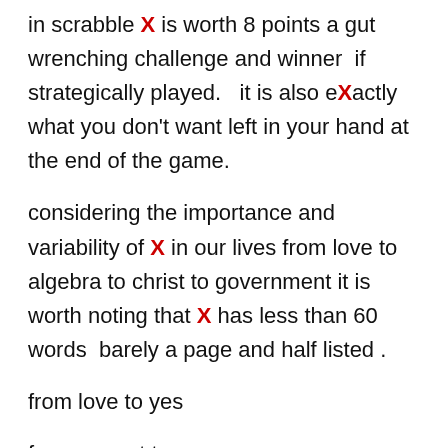in scrabble X is worth 8 points a gut wrenching challenge and winner  if strategically played.   it is also eXactly what you don't want left in your hand at the end of the game.
considering the importance and variability of X in our lives from love to algebra to christ to government it is worth noting that X has less than 60 words  barely a page and half listed .
from love to yes
from correct to wrong
from I don't know to no one knows